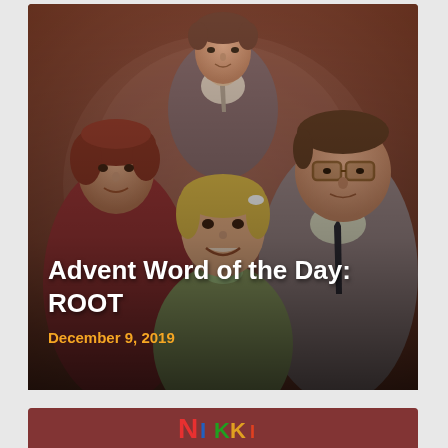[Figure (photo): Vintage family portrait photo (circa 1970s-80s) showing four people: a teenage boy in suit and tie at top center, a woman with reddish hair on the left, a man with glasses and dark tie on the right, and a young girl in the foreground center. The photo has a warm sepia/brown tone.]
Advent Word of the Day: ROOT
December 9, 2019
[Figure (photo): Partial view of another photo at the very bottom of the page, showing colorful text or logo elements partially visible.]